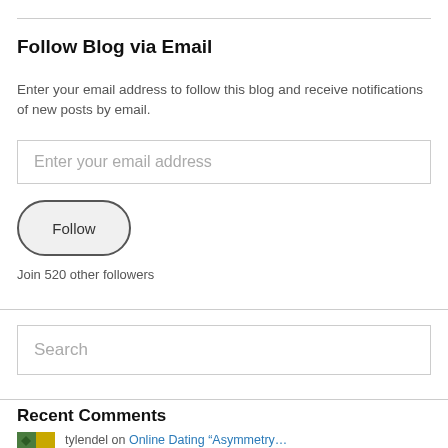Follow Blog via Email
Enter your email address to follow this blog and receive notifications of new posts by email.
Enter your email address
Follow
Join 520 other followers
Search
Recent Comments
tylendel on Online Dating “Asymmetry…